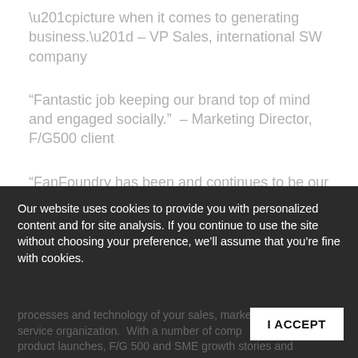“picture when it comes to generating business.” – VP Sales, international SW company
“Fantastic job keeping our brand top of mind and engaged socially.”  – Marketing Director, F/G500 client
“FanFoundry has been and continues to be our “go-to” as we transition to a cloud-based, data-driven infrastructure.”   – CEO, global marketing agency
“We can literally throw anything at [FanFoundry] and they make it great.” – VP Sales Operations, F/G500 client
Our website uses cookies to provide you with personalized content and for site analysis. If you continue to use the site without choosing your preference, we’ll assume that you’re fine with cookies.
processes and technology of your sales, marketing and service organization.  With a number of comp... product launches, F/G 500 and SME growth stories and